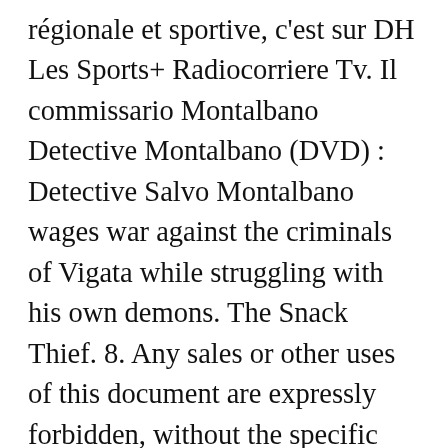régionale et sportive, c'est sur DH Les Sports+ Radiocorriere Tv. Il commissario Montalbano Detective Montalbano (DVD) : Detective Salvo Montalbano wages war against the criminals of Vigata while struggling with his own demons. The Snack Thief. 8. Any sales or other uses of this document are expressly forbidden, without the specific consent of the author(s). Rate. See more of Il Commissario Montalbano Rai on Facebook. The music for the soundtrack was composed by Franco Piersanti. 6. Recent Post by Page. Based on the mystery novels by Andrea Camilleri. Rate. Not Now. SBS World Movies – January Summer of Discovery Weekends. Il commissario Montalbano - Pagina Ufficiale Rai Toute l'actualité belge